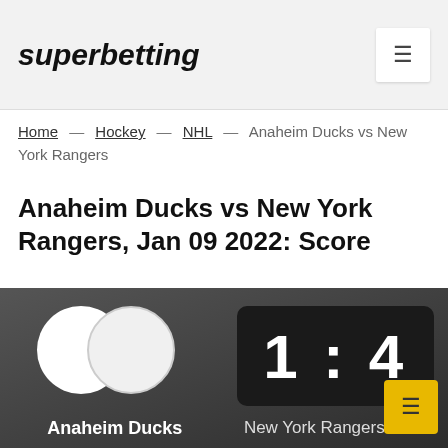superbetting
Home — Hockey — NHL — Anaheim Ducks vs New York Rangers
Anaheim Ducks vs New York Rangers, Jan 09 2022: Score
[Figure (infographic): Score display showing Anaheim Ducks (1) vs New York Rangers (4) with team logos (white circles) on dark background]